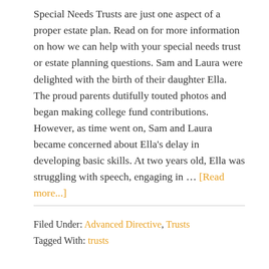Special Needs Trusts are just one aspect of a proper estate plan. Read on for more information on how we can help with your special needs trust or estate planning questions. Sam and Laura were delighted with the birth of their daughter Ella. The proud parents dutifully touted photos and began making college fund contributions. However, as time went on, Sam and Laura became concerned about Ella's delay in developing basic skills. At two years old, Ella was struggling with speech, engaging in … [Read more...]
Filed Under: Advanced Directive, Trusts Tagged With: trusts